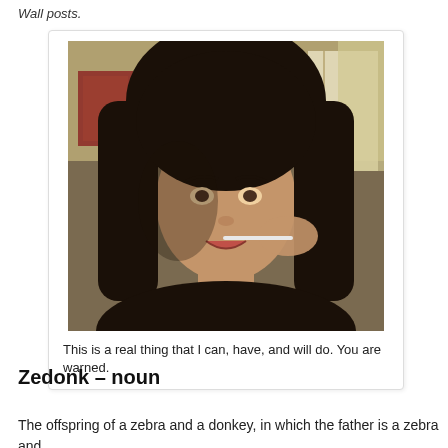Wall posts.
[Figure (photo): A young woman with long dark hair, looking at the camera, holding what appears to be a toothbrush or similar object near her mouth. Background shows a room with a window.]
This is a real thing that I can, have, and will do. You are warned.
Zedonk – noun
The offspring of a zebra and a donkey, in which the father is a zebra and